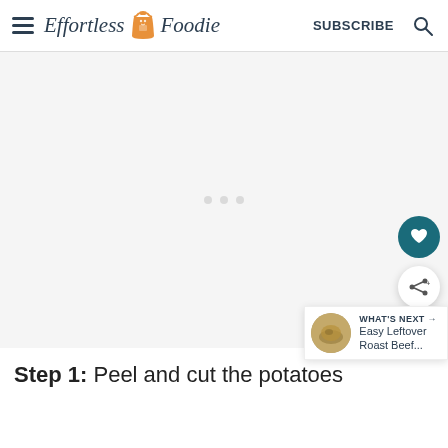Effortless Foodie | SUBSCRIBE
[Figure (other): Advertisement placeholder area with three small dots centered]
WHAT'S NEXT → Easy Leftover Roast Beef...
Step 1: Peel and cut the potatoes